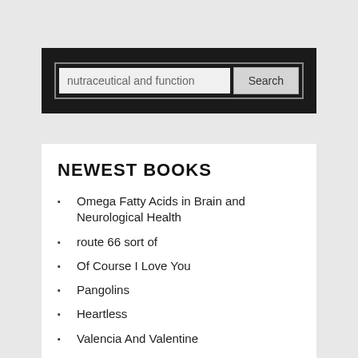[Figure (screenshot): Search bar with input field containing 'nutraceutical and function' and a Search button, on a dark background]
NEWEST BOOKS
Omega Fatty Acids in Brain and Neurological Health
route 66 sort of
Of Course I Love You
Pangolins
Heartless
Valencia And Valentine
cannabis pharmacy the practical guide to medical marijuana